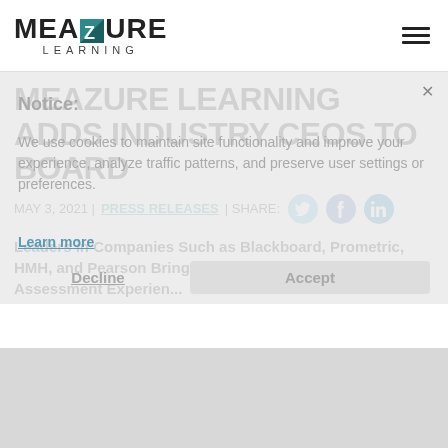MEAZURE LEARNING
Notice:
We use cookies to maintain site functionality and improve your experience, analyze traffic patterns, and preserve user settings or preferences.
Learn more
Decline
Accept
MEAZURE LEARNING ADDS INDUSTRY CEOS TO BOARD
MAY 3, 2021 | PRESS RELEASES | SHARE:
Leaders in Companies Such as Blackboard, Prometric, HMH, and Pearson Bring Decades of Education and Assessment Experience to...